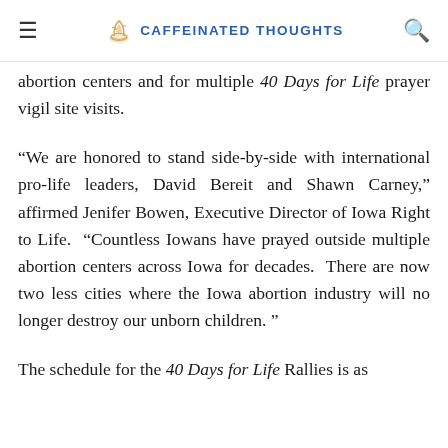CAFFEINATED THOUGHTS
abortion centers and for multiple 40 Days for Life prayer vigil site visits.
“We are honored to stand side-by-side with international pro-life leaders, David Bereit and Shawn Carney,” affirmed Jenifer Bowen, Executive Director of Iowa Right to Life. “Countless Iowans have prayed outside multiple abortion centers across Iowa for decades. There are now two less cities where the Iowa abortion industry will no longer destroy our unborn children. ”
The schedule for the 40 Days for Life Rallies is as